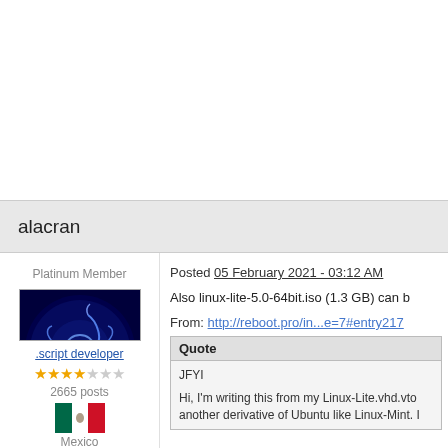alacran
Platinum Member
[Figure (illustration): Avatar image of a glowing blue scorpion on dark background]
.script developer
2665 posts
[Figure (photo): Mexican flag]
Mexico
Posted 05 February 2021 - 03:12 AM
Also linux-lite-5.0-64bit.iso (1.3 GB) can b
From: http://reboot.pro/in...e=7#entry217
Quote
JFYI
Hi, I'm writing this from my Linux-Lite.vhd.vto another derivative of Ubuntu like Linux-Mint. I